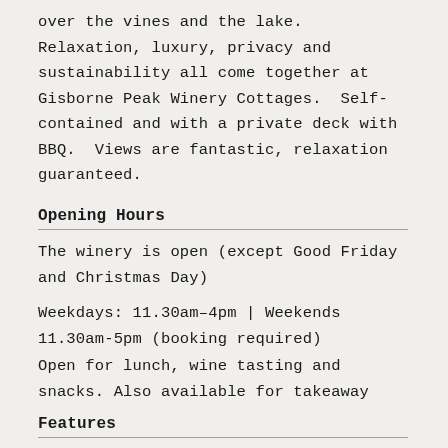over the vines and the lake. Relaxation, luxury, privacy and sustainability all come together at Gisborne Peak Winery Cottages.  Self-contained and with a private deck with BBQ.  Views are fantastic, relaxation guaranteed.
Opening Hours
The winery is open (except Good Friday and Christmas Day)
Weekdays: 11.30am–4pm | Weekends 11.30am-5pm (booking required)
Open for lunch, wine tasting and snacks. Also available for takeaway
Features
Outdoor Dining